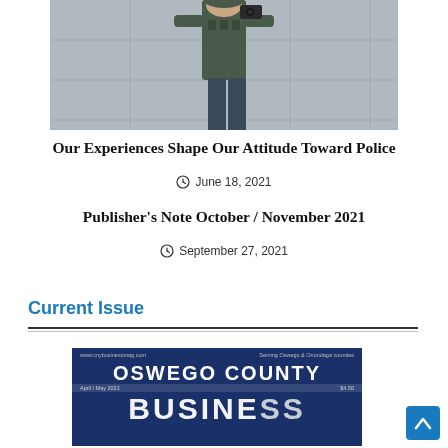[Figure (photo): Partial photo of a person in tactical/police gear holding equipment, cropped to show torso and arms against a light gray tiled background]
Our Experiences Shape Our Attitude Toward Police
June 18, 2021
Publisher’s Note October / November 2021
September 27, 2021
Current Issue
[Figure (photo): Cover of Oswego County Business magazine, April/May 2022 issue, dark navy blue background with large white text reading OSWEGO COUNTY BUSINESS]